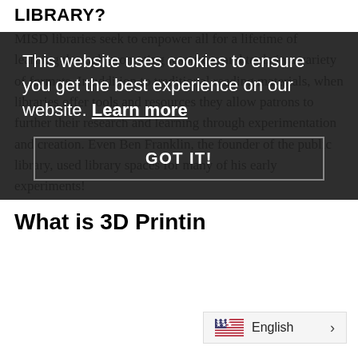LIBRARY?
MISD libraries seek to empower all for a lifetime of learning through promoting resources and tools in a variety of formats. In addition to traditional reading materials, when libraries offer tools and resources they allow patrons to further their research and learning through experimentation and creation. Even Ben Franklin, the founder of the public library, used library spaces for many of his early experiments!
[Figure (screenshot): Cookie consent overlay with text 'This website uses cookies to ensure you get the best experience on our website. Learn more' and a 'GOT IT!' button, displayed over darkened background]
What is 3D Printin
[Figure (screenshot): Language selector bar showing US flag and 'English >' in bottom right corner]